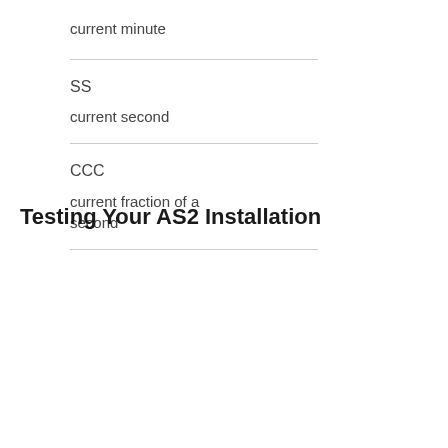current minute
SS
current second
CCC
current fraction of a second
Testing Your AS2 Installation